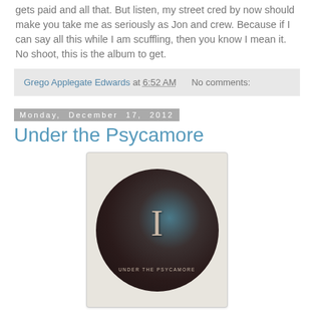gets paid and all that. But listen, my street cred by now should make you take me as seriously as Jon and crew. Because if I can say all this while I am scuffling, then you know I mean it. No shoot, this is the album to get.
Grego Applegate Edwards at 6:52 AM     No comments:
Monday, December 17, 2012
Under the Psycamore
[Figure (photo): Album cover for 'Under the Psycamore' — a cream/beige square with a dark circular vinyl-like disc featuring a Roman numeral I and text 'UNDER THE PSYCAMORE' at the bottom, with teal/dark brown tones.]
New Swedish Neo-Prog Rock? The debut album of Under